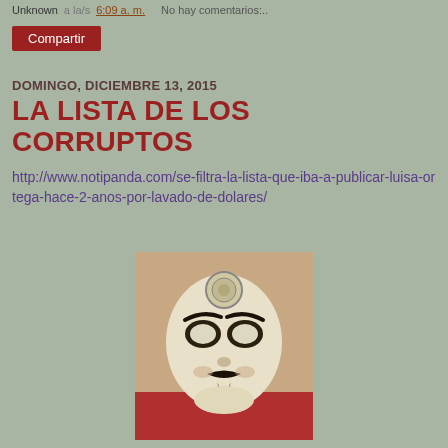Unknown a la/s 6:09 a. m.  No hay comentarios:..
Compartir
DOMINGO, DICIEMBRE 13, 2015
LA LISTA DE LOS CORRUPTOS
http://www.notipanda.com/se-filtra-la-lista-que-iba-a-publicar-luisa-ortega-hace-2-anos-por-lavado-de-dolares/
[Figure (photo): Person wearing a Guy Fawkes / Anonymous mask (white face mask with black mustache and beard markings, red costume visible at bottom), with a decorative medallion on the forehead.]